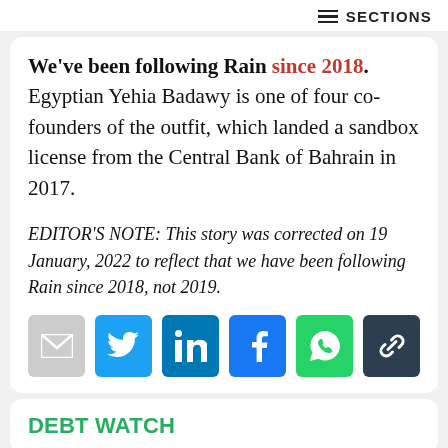SECTIONS
We've been following Rain since 2018. Egyptian Yehia Badawy is one of four co-founders of the outfit, which landed a sandbox license from the Central Bank of Bahrain in 2017.
EDITOR'S NOTE: This story was corrected on 19 January, 2022 to reflect that we have been following Rain since 2018, not 2019.
[Figure (other): Social sharing icons: mail, Twitter, LinkedIn, Facebook, WhatsApp, link]
DEBT WATCH